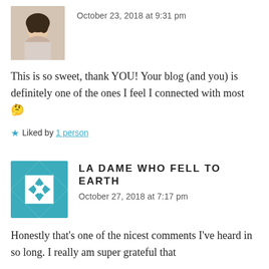[Figure (photo): User avatar photo of a young woman with dark hair]
October 23, 2018 at 9:31 pm
This is so sweet, thank YOU! Your blog (and you) is definitely one of the ones I feel I connected with most 🤔
★ Liked by 1 person
[Figure (logo): Quilt-pattern logo for La Dame Who Fell To Earth — teal and white geometric diamond/triangle pattern]
LA DAME WHO FELL TO EARTH
October 27, 2018 at 7:17 pm
Honestly that's one of the nicest comments I've heard in so long. I really am super grateful that